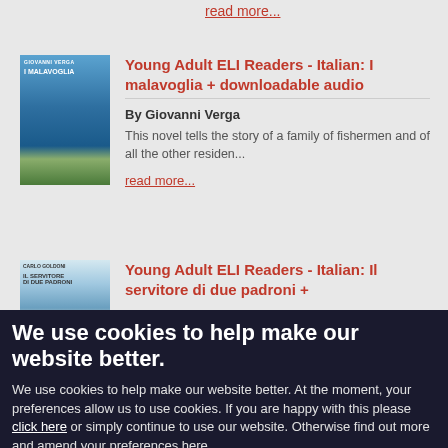read more...
Young Adult ELI Readers - Italian: I malavoglia + downloadable audio
By Giovanni Verga
This novel tells the story of a family of fishermen and of all the other residen...
read more...
[Figure (illustration): Book cover for I Malavoglia - blue coastal scene with rocks]
Young Adult ELI Readers - Italian: Il servitore di due padroni +
[Figure (illustration): Book cover for Il servitore di due padroni]
We use cookies to help make our website better.
We use cookies to help make our website better. At the moment, your preferences allow us to use cookies. If you are happy with this please click here or simply continue to use our website. Otherwise find out more and amend your preferences here.